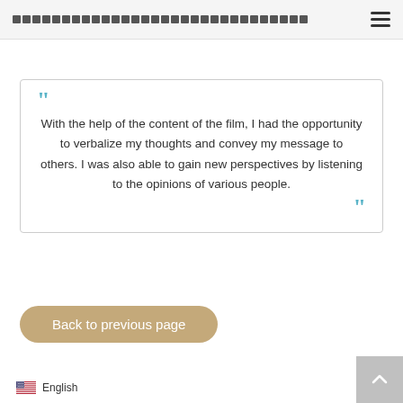▪▪▪▪▪▪▪▪▪▪▪▪▪▪▪▪▪▪▪▪▪▪▪▪▪▪▪▪▪▪
With the help of the content of the film, I had the opportunity to verbalize my thoughts and convey my message to others. I was also able to gain new perspectives by listening to the opinions of various people.
Back to previous page
English